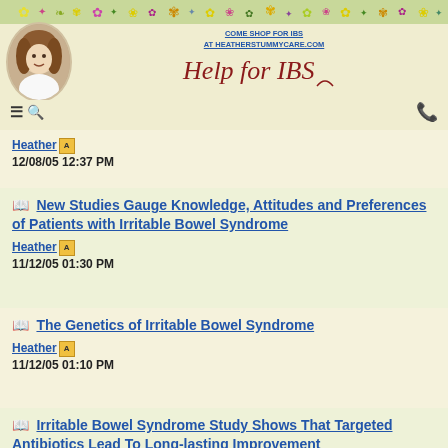COME SHOP FOR IBS AT HEATHERSTUMMYCARE.COM
Help for IBS
Heather | 12/08/05 12:37 PM
New Studies Gauge Knowledge, Attitudes and Preferences of Patients with Irritable Bowel Syndrome | Heather | 11/12/05 01:30 PM
The Genetics of Irritable Bowel Syndrome | Heather | 11/12/05 01:10 PM
Irritable Bowel Syndrome Study Shows That Targeted Antibiotics Lead To Long-lasting Improvement | Heather